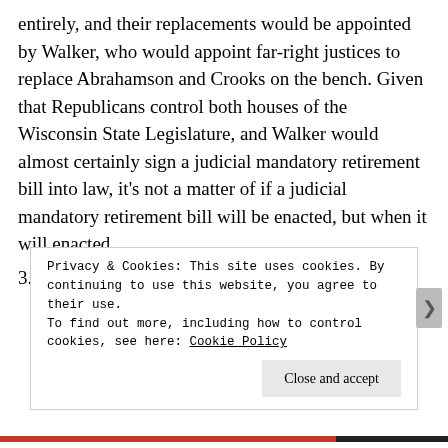entirely, and their replacements would be appointed by Walker, who would appoint far-right justices to replace Abrahamson and Crooks on the bench. Given that Republicans control both houses of the Wisconsin State Legislature, and Walker would almost certainly sign a judicial mandatory retirement bill into law, it's not a matter of if a judicial mandatory retirement bill will be enacted, but when it will enacted.
3. Defeat liberal SCOWI justice Ann Walsh Bradley, the other of the three justices who usually side against Walker and his cohorts on the SCOWI bench, in this
Privacy & Cookies: This site uses cookies. By continuing to use this website, you agree to their use.
To find out more, including how to control cookies, see here: Cookie Policy